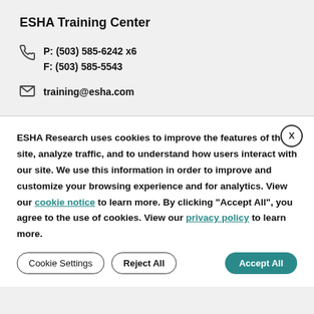ESHA Training Center
P: (503) 585-6242 x6
F: (503) 585-5543
training@esha.com
ESHA Research uses cookies to improve the features of the site, analyze traffic, and to understand how users interact with our site. We use this information in order to improve and customize your browsing experience and for analytics. View our cookie notice to learn more. By clicking “Accept All”, you agree to the use of cookies. View our privacy policy to learn more.
Cookie Settings | Reject All | Accept All